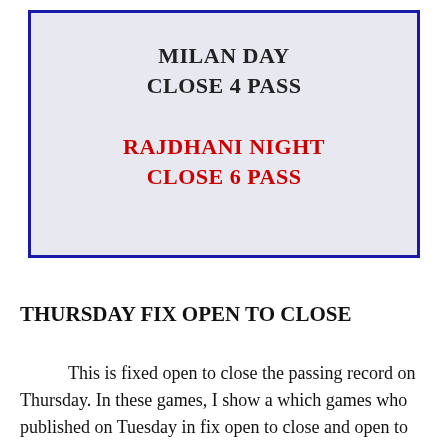MILAN DAY
CLOSE 4 PASS

RAJDHANI NIGHT
CLOSE 6 PASS
THURSDAY FIX OPEN TO CLOSE
This is fixed open to close the passing record on Thursday. In these games, I show a which games who published on Tuesday in fix open to close and open to